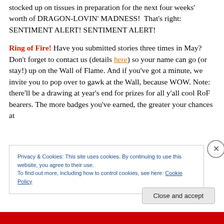stocked up on tissues in preparation for the next four weeks' worth of DRAGON-LOVIN' MADNESS!  That's right: SENTIMENT ALERT! SENTIMENT ALERT!
Ring of Fire! Have you submitted stories three times in May? Don't forget to contact us (details here) so your name can go (or stay!) up on the Wall of Flame. And if you've got a minute, we invite you to pop over to gawk at the Wall, because WOW. Note: there'll be a drawing at year's end for prizes for all y'all cool RoF bearers. The more badges you've earned, the greater your chances at loot!
Privacy & Cookies: This site uses cookies. By continuing to use this website, you agree to their use.
To find out more, including how to control cookies, see here: Cookie Policy
Close and accept